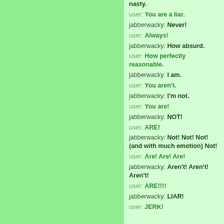nasty.
user: You are a liar.
jabberwacky: Never!
user: Always!
jabberwacky: How absurd.
user: How perfectly reasonable.
jabberwacky: I am.
user: You aren't.
jabberwacky: I'm not.
user: You are!
jabberwacky: NOT!
user: ARE!
jabberwacky: Not! Not! Not! (and with much emotion) Not!
user: Are! Are! Are!
jabberwacky: Aren't! Aren't! Aren't!
user: ARE!!!!
jabberwacky: LIAR!
user: JERK!